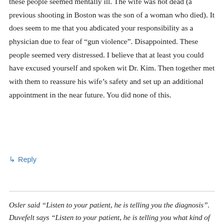these people seemed mentally ill. The wife was not dead (a previous shooting in Boston was the son of a woman who died). It does seem to me that you abdicated your responsibility as a physician due to fear of “gun violence”. Disappointed. These people seemed very distressed. I believe that at least you could have excused yourself and spoken wit Dr. Kim. Then together met with them to reassure his wife’s safety and set up an additional appointment in the near future. You did none of this.
↳ Reply
Osler said “Listen to your patient, he is telling you the diagnosis”. Duvefelt says “Listen to your patient, he is telling you what kind of